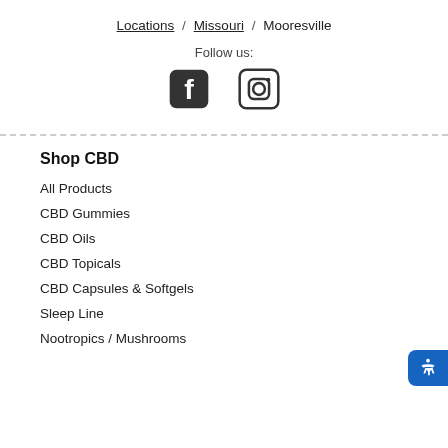Locations / Missouri / Mooresville
Follow us:
[Figure (other): Facebook and Instagram social media icons]
Shop CBD
All Products
CBD Gummies
CBD Oils
CBD Topicals
CBD Capsules & Softgels
Sleep Line
Nootropics / Mushrooms